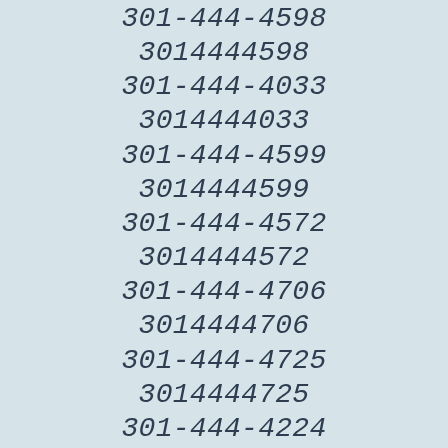301-444-4598
3014444598
301-444-4033
3014444033
301-444-4599
3014444599
301-444-4572
3014444572
301-444-4706
3014444706
301-444-4725
3014444725
301-444-4224
3014444224
301-444-4388
3014444388